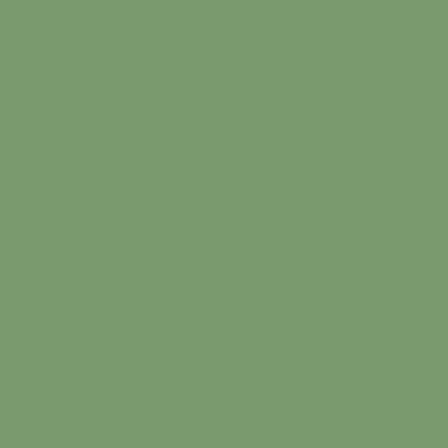community and run on a non profit basis. We need proper long term food and supermarket strategy about public owned supermarkets where the profits are ploughed back into keeping staple food prices low and giving a fair price to indigenous producers. The amount of money these chains, tesco etc syphon out of the economy every year is huge. These profits could serve a better purpose for our community
I really think you need to bring sinn fein in as well though. They support many of these policies and bring in more votes to the alliance and give it more weight. They have little control of the budget in the north, they just get to distribute an allocation from westminister so it's not fair to judge them on that as some commenters have.
more details please
by Canteen Kieran -ucd head   Wed No... 13:51
"The ULA will be standing candidates throughout the country and we are inviting all people, campaigns and groups that want to fight for real change and agree with our demands to become part of the Alliance."